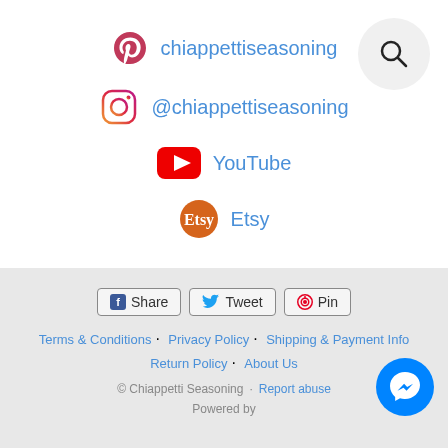chiappettiseasoning (Pinterest)
@chiappettiseasoning (Instagram)
YouTube
Etsy
Share  Tweet  Pin
Terms & Conditions  Privacy Policy  Shipping & Payment Info  Return Policy  About Us
© Chiappetti Seasoning · Report abuse
Powered by